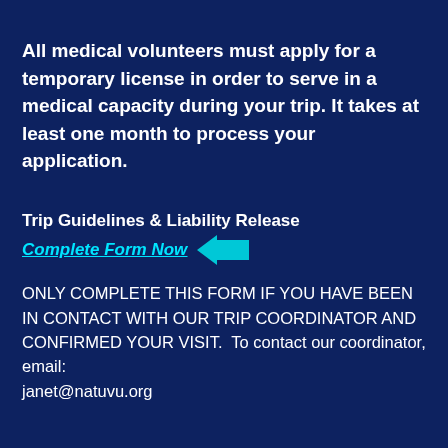All medical volunteers must apply for a temporary license in order to serve in a medical capacity during your trip. It takes at least one month to process your application.
Trip Guidelines & Liability Release
Complete Form Now [arrow] ONLY COMPLETE THIS FORM IF YOU HAVE BEEN IN CONTACT WITH OUR TRIP COORDINATOR AND CONFIRMED YOUR VISIT.  To contact our coordinator, email: janet@natuvu.org